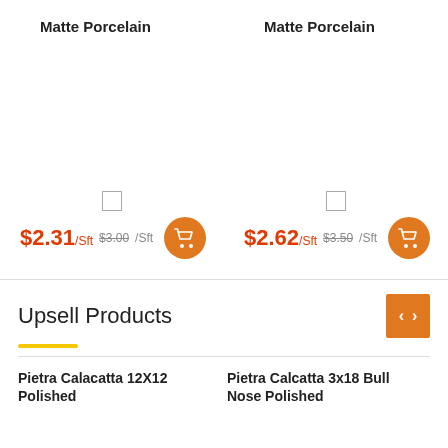Matte Porcelain
Matte Porcelain
$2.31 /Sft $3.00 /Sft
$2.62 /Sft $3.50 /Sft
Upsell Products
Pietra Calacatta 12X12 Polished
Pietra Calcatta 3x18 Bull Nose Polished